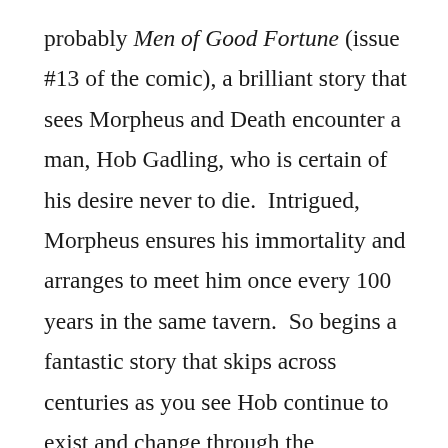probably Men of Good Fortune (issue #13 of the comic), a brilliant story that sees Morpheus and Death encounter a man, Hob Gadling, who is certain of his desire never to die.  Intrigued, Morpheus ensures his immortality and arranges to meet him once every 100 years in the same tavern.  So begins a fantastic story that skips across centuries as you see Hob continue to exist and change through the centuries.  Watching him achieve the highs and lows of an immortal is deeply fascinating, as is his compelling and deeply personal interactions with Morpheus as they discuss his experiences and his desires to stay alive.  The conclusion of this story proves to be particularly moving, and it helps to humanise Morpheus after several issues of him being emotionally distant.  Other